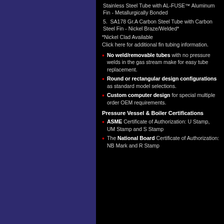Stainless Steel Tube with AL-FUSE™ Aluminum Fin - Metallurgically Bonded
5. SA178 Gr.A Carbon Steel Tube with Carbon Steel Fin - Nickel Braze/Welded*
*Nickel Clad Available
Click here for additional fin tubing information.
No weld/removable tubes with no pressure welds in the gas stream make for easy tube replacement.
Round or rectangular design configurations as standard model selections.
Custom computer design for special multiple order OEM requirements.
Pressure Vessel & Boiler Certifications
ASME Certificate of Authorization: U Stamp, UM Stamp and S Stamp
The National Board Certificate of Authorization: NB Mark and R Stamp